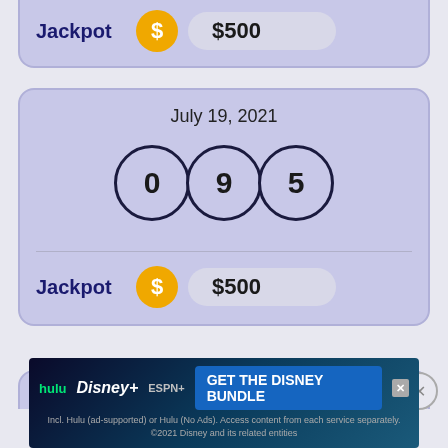[Figure (infographic): Top partial lottery card showing Jackpot $500 with gold dollar coin]
[Figure (infographic): Lottery result card for July 19, 2021 showing numbers 0, 9, 5 and Jackpot $500]
[Figure (infographic): Partial lottery card for July 18, 2021 partially visible at bottom]
[Figure (infographic): Disney Bundle advertisement banner: GET THE DISNEY BUNDLE with hulu, Disney+, ESPN+]